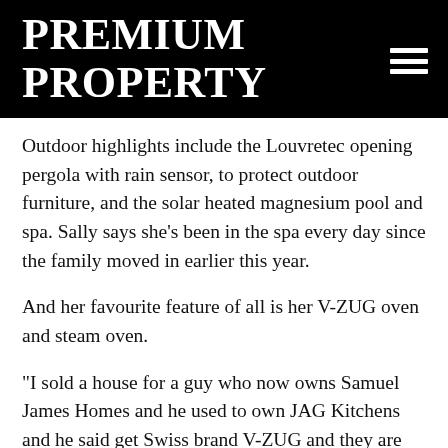PREMIUM PROPERTY
Outdoor highlights include the Louvretec opening pergola with rain sensor, to protect outdoor furniture, and the solar heated magnesium pool and spa. Sally says she’s been in the spa every day since the family moved in earlier this year.
And her favourite feature of all is her V-ZUG oven and steam oven.
“I sold a house for a guy who now owns Samuel James Homes and he used to own JAG Kitchens and he said get Swiss brand V-ZUG and they are the best things I got,” she says. “The steam oven is amazing. I don’t use a microwave, even to defrost things, it’s all steam. It also does dry steam so it will toast a sandwich. I’m no cook but I love it, it’s the best appliance I’ve ever had.”